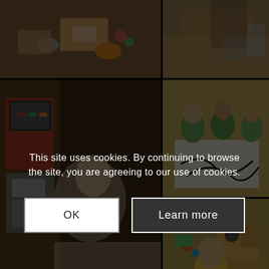[Figure (photo): Children playing at a toy kitchen/table with colorful play food items]
[Figure (photo): Adult and child at a sand or sensory play table with toys]
[Figure (photo): Toddler playing with a large wooden play kitchen set]
[Figure (photo): Three young children in green clothing doing art/painting on large white paper on the floor]
[Figure (photo): Young children playing with wooden toy kitchen and colorful toys on the floor]
This site uses cookies. By continuing to browse the site, you are agreeing to our use of cookies.